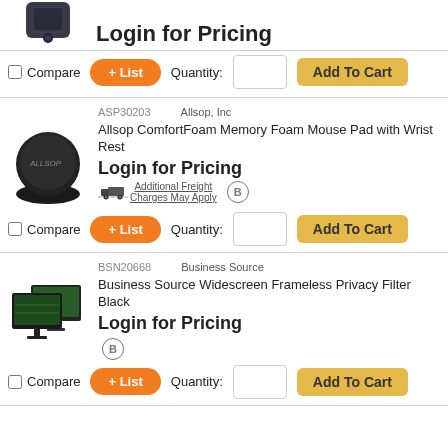[Figure (photo): Top of product image (cut off) - appears to be a dark device/scanner]
Login for Pricing
Compare   + List   Quantity:   Add To Cart
ASP30203   Allsop, Inc
[Figure (photo): Black circular mouse pad with wrist rest - Allsop ComfortFoam]
Allsop ComfortFoam Memory Foam Mouse Pad with Wrist Rest
Login for Pricing
Additional Freight Charges May Apply
Compare   + List   Quantity:   Add To Cart
BSN20668   Business Source
[Figure (photo): Business Source Widescreen Frameless Privacy Filter - two computer monitors shown]
Business Source Widescreen Frameless Privacy Filter Black
Login for Pricing
Compare   + List   Quantity:   Add To Cart